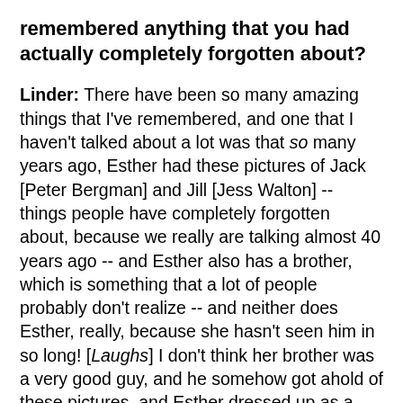remembered anything that you had actually completely forgotten about?
Linder: There have been so many amazing things that I've remembered, and one that I haven't talked about a lot was that so many years ago, Esther had these pictures of Jack [Peter Bergman] and Jill [Jess Walton] -- things people have completely forgotten about, because we really are talking almost 40 years ago -- and Esther also has a brother, which is something that a lot of people probably don't realize -- and neither does Esther, really, because she hasn't seen him in so long! [Laughs] I don't think her brother was a very good guy, and he somehow got ahold of these pictures, and Esther dressed up as a bag lady to go and do something with these